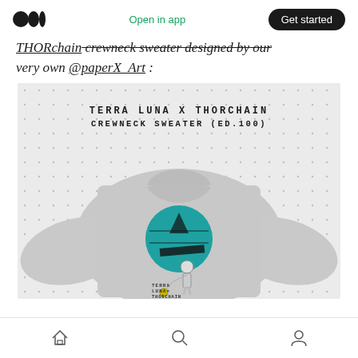Medium logo | Open in app | Get started
THORchain crewneck sweater designed by our very own @paperX_Art :
[Figure (photo): Product photograph of a grey crewneck sweater with Terra Luna x THORchain design featuring an astronaut and planet graphic. Header text reads: TERRA LUNA X THORCHAIN CREWNECK SWEATER (ED.100)]
Home | Search | Profile navigation icons